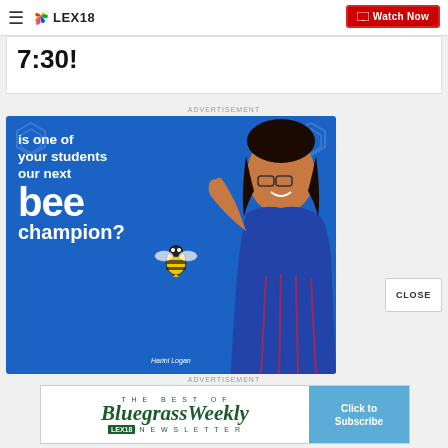LEX18 — Watch Now
7:30!
ADVERTISEMENT
[Figure (photo): Spelling Bee advertisement on blue background. Text reads: 'is one of your students our next bee champion?' with a smiling young woman (Harini Logan) on the right side. Animated bee graphic near the word 'bee'.]
ADVERTISEMENT
[Figure (other): Bluegrass Weekly newsletter advertisement with green text on white background. Shows 'The Best Of Bluegrass Weekly NEWSLETTER' with 'Click to Subscribe' button in blue on the right.]